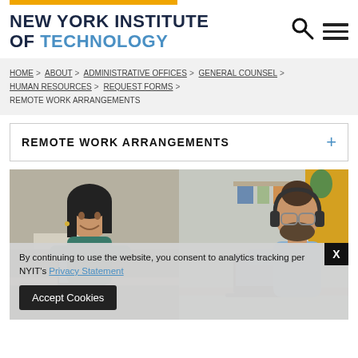NEW YORK INSTITUTE OF TECHNOLOGY
HOME > ABOUT > ADMINISTRATIVE OFFICES > GENERAL COUNSEL > HUMAN RESOURCES > REQUEST FORMS > REMOTE WORK ARRANGEMENTS
REMOTE WORK ARRANGEMENTS
[Figure (photo): Two people working remotely: a smiling woman on the left working at a home desk, and a man with headphones on the right working at a desk.]
By continuing to use the website, you consent to analytics tracking per NYIT's Privacy Statement
Accept Cookies